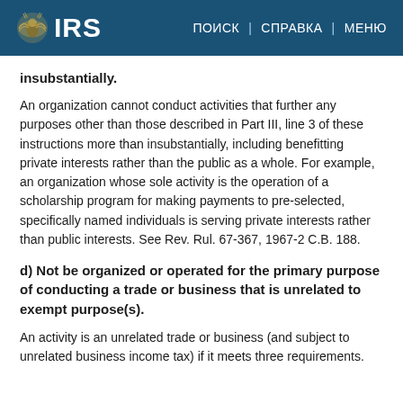IRS | ПОИСК | СПРАВКА | МЕНЮ
insubstantially.
An organization cannot conduct activities that further any purposes other than those described in Part III, line 3 of these instructions more than insubstantially, including benefitting private interests rather than the public as a whole. For example, an organization whose sole activity is the operation of a scholarship program for making payments to pre-selected, specifically named individuals is serving private interests rather than public interests. See Rev. Rul. 67-367, 1967-2 C.B. 188.
d) Not be organized or operated for the primary purpose of conducting a trade or business that is unrelated to exempt purpose(s).
An activity is an unrelated trade or business (and subject to unrelated business income tax) if it meets three requirements.